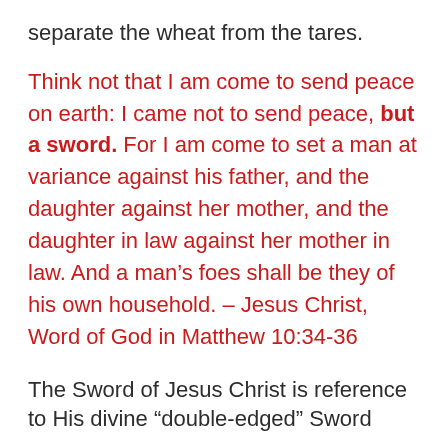separate the wheat from the tares.
Think not that I am come to send peace on earth: I came not to send peace, but a sword. For I am come to set a man at variance against his father, and the daughter against her mother, and the daughter in law against her mother in law. And a man’s foes shall be they of his own household. – Jesus Christ, Word of God in Matthew 10:34-36
The Sword of Jesus Christ is reference to His divine “double-edged” Sword